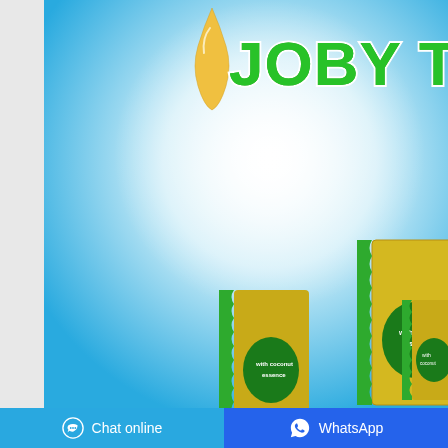[Figure (photo): Product advertisement image with blue gradient background. Shows golden oil drop at top center, bold green text 'JOBY TO FAR' (partially visible, cut off at right) with white outline on upper portion. Lower right shows green and gold product packaging (sachets/pouches) with coconut essence branding. Background transitions from sky blue to white in center.]
Chat online   WhatsApp